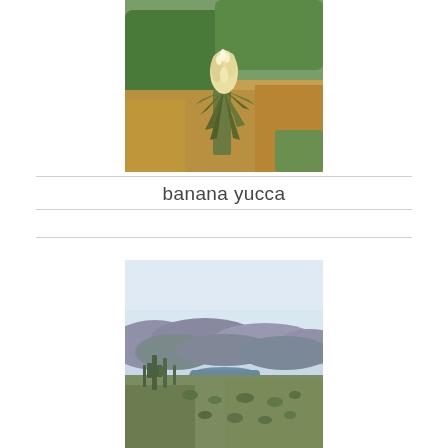[Figure (photo): A yucca plant with white flower bloom growing among dry golden grass, with green shrubs in the background. Desert or semi-arid landscape.]
banana yucca
[Figure (photo): A wide desert landscape panorama with saguaro cacti in the foreground, a river or lake in the middle distance, and mountains under a pale blue sky in the background.]